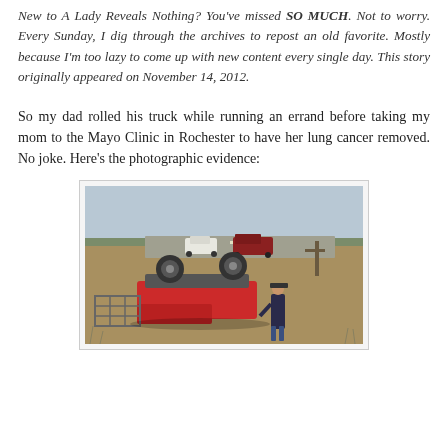New to A Lady Reveals Nothing? You've missed SO MUCH. Not to worry. Every Sunday, I dig through the archives to repost an old favorite. Mostly because I'm too lazy to come up with new content every single day. This story originally appeared on November 14, 2012.
So my dad rolled his truck while running an errand before taking my mom to the Mayo Clinic in Rochester to have her lung cancer removed. No joke. Here's the photographic evidence:
[Figure (photo): A red pickup truck overturned on its roof in a ditch beside a rural road, with a person standing next to it. Two vehicles are visible on the road in the background. Dry grass and bare trees visible in winter landscape.]